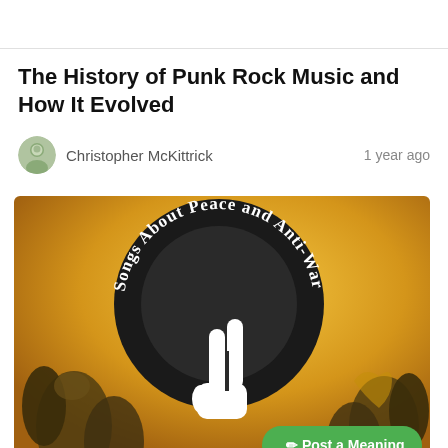The History of Punk Rock Music and How It Evolved
Christopher McKittrick   1 year ago
[Figure (illustration): Circular badge with text 'Songs About Peace and Anti-War' arranged along the top arc, with a white peace/victory hand sign in the center, over a golden/yellow background with silhouetted people raising hands. A green 'Post a Meaning' button overlays the bottom right.]